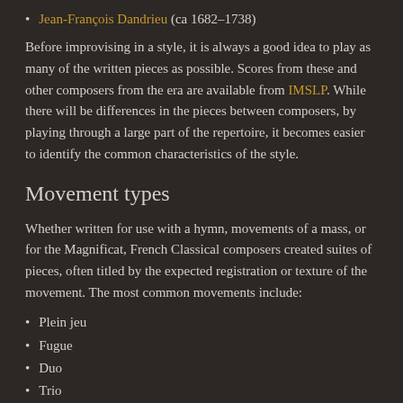Jean-François Dandrieu (ca 1682–1738)
Before improvising in a style, it is always a good idea to play as many of the written pieces as possible. Scores from these and other composers from the era are available from IMSLP. While there will be differences in the pieces between composers, by playing through a large part of the repertoire, it becomes easier to identify the common characteristics of the style.
Movement types
Whether written for use with a hymn, movements of a mass, or for the Magnificat, French Classical composers created suites of pieces, often titled by the expected registration or texture of the movement. The most common movements include:
Plein jeu
Fugue
Duo
Trio
Récit
Grand jeu